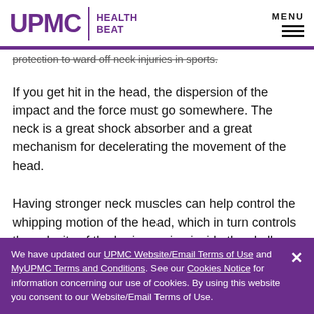UPMC HEALTH BEAT
protection to ward off neck injuries in sports.
If you get hit in the head, the dispersion of the impact and the force must go somewhere. The neck is a great shock absorber and a great mechanism for decelerating the movement of the head.
Having stronger neck muscles can help control the whipping motion of the head, which in turn controls the velocity of the brain moving inside the skull.
We have updated our UPMC Website/Email Terms of Use and MyUPMC Terms and Conditions. See our Cookies Notice for information concerning our use of cookies. By using this website you consent to our Website/Email Terms of Use.